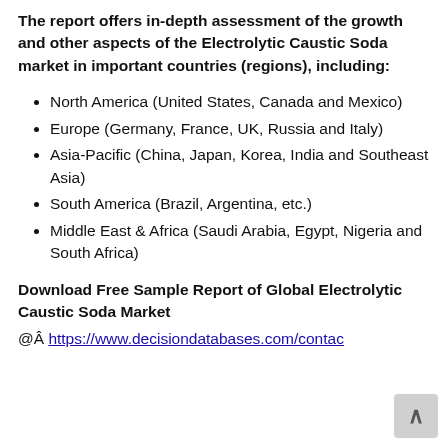The report offers in-depth assessment of the growth and other aspects of the Electrolytic Caustic Soda market in important countries (regions), including:
North America (United States, Canada and Mexico)
Europe (Germany, France, UK, Russia and Italy)
Asia-Pacific (China, Japan, Korea, India and Southeast Asia)
South America (Brazil, Argentina, etc.)
Middle East & Africa (Saudi Arabia, Egypt, Nigeria and South Africa)
Download Free Sample Report of Global Electrolytic Caustic Soda Market @Â https://www.decisiondatabases.com/contac